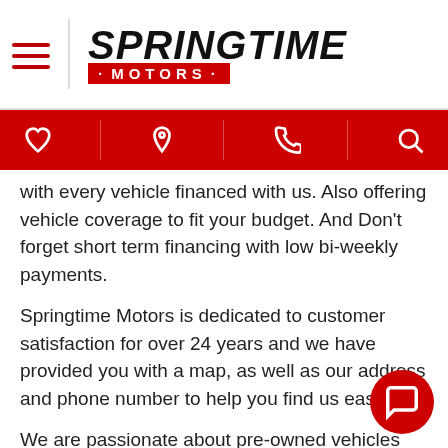[Figure (logo): Springtime Motors logo with hamburger menu icon and red MOTORS badge]
[Figure (infographic): Red navigation bar with heart, map pin, phone, and search icons]
with every vehicle financed with us. Also offering vehicle coverage to fit your budget. And Don't forget short term financing with low bi-weekly payments.
Springtime Motors is dedicated to customer satisfaction for over 24 years and we have provided you with a map, as well as our address and phone number to help you find us easily.
We are passionate about pre-owned vehicles and we are intent on sharing that passion with you when you purchase your pre-owned vehicle from us.
Come by today and test drive the car of your choice.